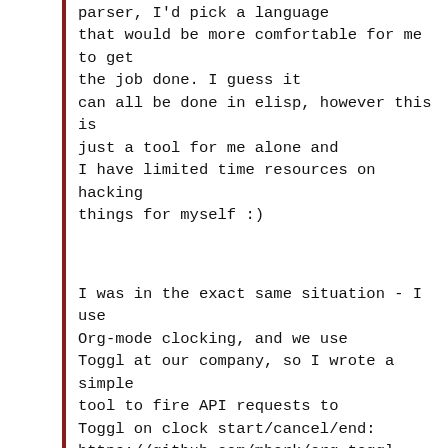parser, I'd pick a language that would be more comfortable for me to get the job done. I guess it can all be done in elisp, however this is just a tool for me alone and I have limited time resources on hacking things for myself :)
I was in the exact same situation - I use Org-mode clocking, and we use Toggl at our company, so I wrote a simple tool to fire API requests to Toggl on clock start/cancel/end: https://github.com/mbork/org-toggl It's a bit more than 200 lines of Elisp, so you might try to look into it and adapt it to whatever tool your employer is using.
Another one is generating total hours report for day/week/month to put